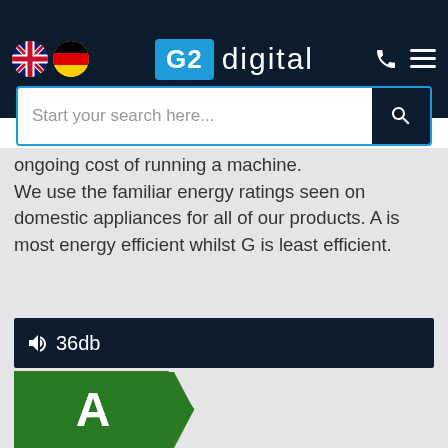G2 DIGITAL
ongoing cost of running a machine. We use the familiar energy ratings seen on domestic appliances for all of our products. A is most energy efficient whilst G is least efficient.
🔊 36db
[Figure (infographic): Energy rating labels showing A (dark green arrow badge), B (dark green arrow badge with large cyan highlighted B label extending right), and partial C (olive green arrow badge) at bottom.]